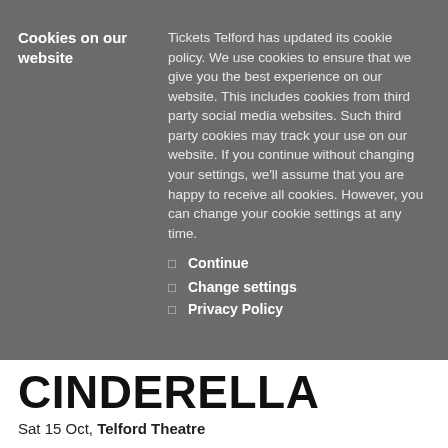Cookies on our website
Tickets Telford has updated its cookie policy. We use cookies to ensure that we give you the best experience on our website. This includes cookies from third party social media websites. Such third party cookies may track your use on our website. If you continue without changing your settings, we'll assume that you are happy to receive all cookies. However, you can change your cookie settings at any time.
Continue
Change settings
Privacy Policy
CINDERELLA
Sat 15 Oct, Telford Theatre